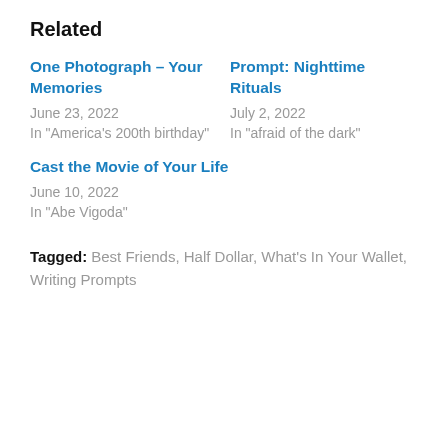Related
One Photograph – Your Memories
June 23, 2022
In "America's 200th birthday"
Prompt: Nighttime Rituals
July 2, 2022
In "afraid of the dark"
Cast the Movie of Your Life
June 10, 2022
In "Abe Vigoda"
Tagged: Best Friends, Half Dollar, What's In Your Wallet, Writing Prompts